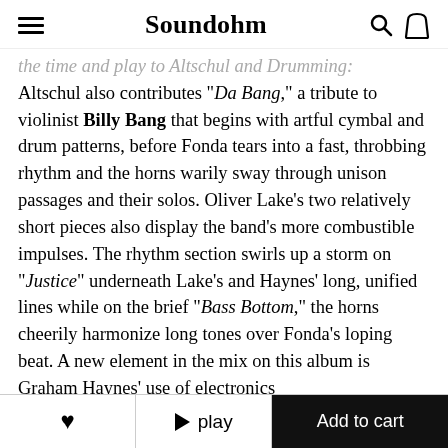Soundohm
Altschul also contributes "Da Bang," a tribute to violinist Billy Bang that begins with artful cymbal and drum patterns, before Fonda tears into a fast, throbbing rhythm and the horns warily sway through unison passages and their solos. Oliver Lake's two relatively short pieces also display the band's more combustible impulses. The rhythm section swirls up a storm on "Justice" underneath Lake's and Haynes' long, unified lines while on the brief "Bass Bottom," the horns cheerily harmonize long tones over Fonda's loping beat. A new element in the mix on this album is Graham Haynes' use of electronics
♥  ▶ play  Add to cart